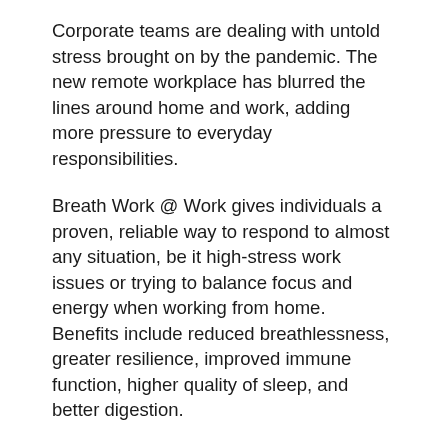Corporate teams are dealing with untold stress brought on by the pandemic. The new remote workplace has blurred the lines around home and work, adding more pressure to everyday responsibilities.
Breath Work @ Work gives individuals a proven, reliable way to respond to almost any situation, be it high-stress work issues or trying to balance focus and energy when working from home. Benefits include reduced breathlessness, greater resilience, improved immune function, higher quality of sleep, and better digestion.
“Just as you train your employees to be powerful and successful in their roles, we’re here to give your team the tools they need that work over the long term,” said Dr. Sly. “Doing just a few minutes of practice every hour or two, employees will see